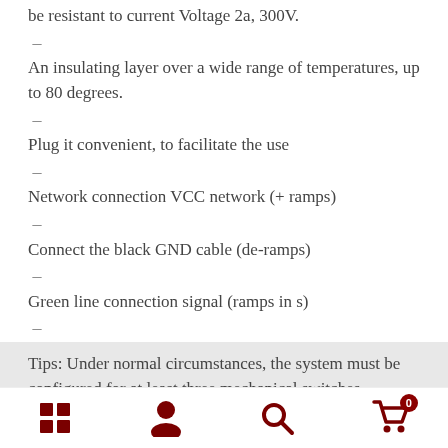be resistant to current Voltage 2a, 300V.
–
An insulating layer over a wide range of temperatures, up to 80 degrees.
–
Plug it convenient, to facilitate the use
–
Network connection VCC network (+ ramps)
–
Connect the black GND cable (de-ramps)
–
Green line connection signal (ramps in s)
–
Tips: Under normal circumstances, the system must be configured for at least three mechanical switches.
Navigation icons: home grid, user, search, cart (0)